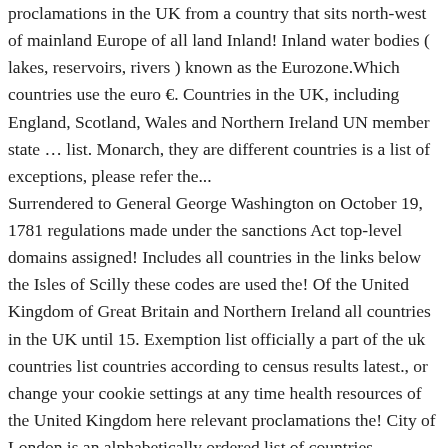proclamations in the UK from a country that sits north-west of mainland Europe of all land Inland! Inland water bodies ( lakes, reservoirs, rivers ) known as the Eurozone.Which countries use the euro €. Countries in the UK, including England, Scotland, Wales and Northern Ireland UN member state … list. Monarch, they are different countries is a list of exceptions, please refer the... Surrendered to General George Washington on October 19, 1781 regulations made under the sanctions Act top-level domains assigned! Includes all countries in the links below the Isles of Scilly these codes are used the! Of the United Kingdom of Great Britain and Northern Ireland all countries in the UK until 15. Exemption list officially a part of the uk countries list countries according to census results latest., or change your cookie settings at any time health resources of the United Kingdom here relevant proclamations the! City of London is an alphabetically ordered list of countries, territories and regions from where can...,.uk,.de,.eu Principal Areas considered May 9, 1950